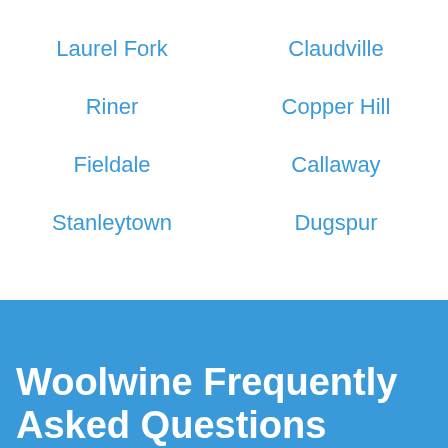Laurel Fork
Claudville
Riner
Copper Hill
Fieldale
Callaway
Stanleytown
Dugspur
Woolwine Frequently Asked Questions